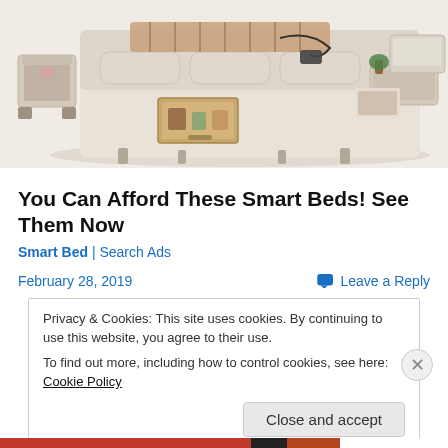[Figure (photo): A luxury smart bed with beige/cream upholstery, showing storage drawers open on the side, a side table with items, and a laptop tray. The bed has a padded headboard and appears to be a high-end multi-functional bed.]
You Can Afford These Smart Beds! See Them Now
Smart Bed | Search Ads
February 28, 2019
Leave a Reply
Privacy & Cookies: This site uses cookies. By continuing to use this website, you agree to their use.
To find out more, including how to control cookies, see here: Cookie Policy
Close and accept